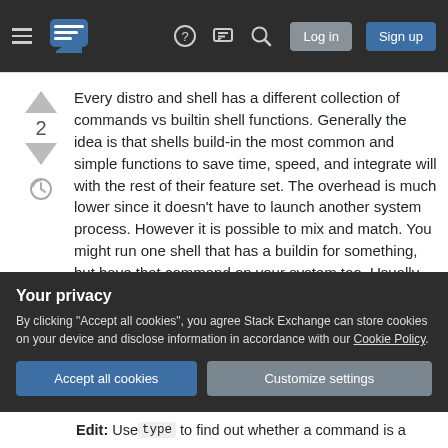Stack Exchange navigation bar with hamburger menu, logo, help, chat, search icons, Log in and Sign up buttons
Every distro and shell has a different collection of commands vs builtin shell functions. Generally the idea is that shells build-in the most common and simple functions to save time, speed, and integrate will with the rest of their feature set. The overhead is much lower since it doesn't have to launch another system process. However it is possible to mix and match. You might run one shell that has a buildin for something, but have that command on your system too. Usually the builtin would take priority, but you
Your privacy
By clicking "Accept all cookies", you agree Stack Exchange can store cookies on your device and disclose information in accordance with our Cookie Policy.
Edit: Use type to find out whether a command is a